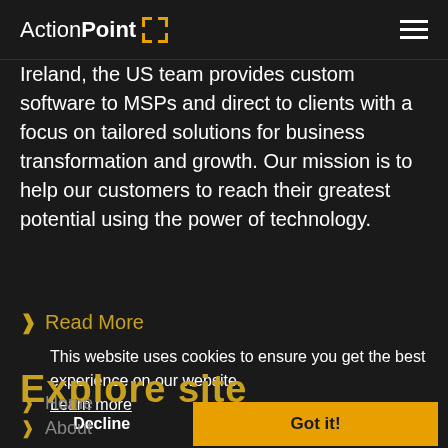ActionPoint [logo icon]
Ireland, the US team provides custom software to MSPs and direct to clients with a focus on tailored solutions for business transformation and growth. Our mission is to help our customers to reach their greatest potential using the power of technology.
> Read More
This website uses cookies to ensure you get the best experience on our website. Learn more
Explore site
Decline | Got it!
> Home
> About